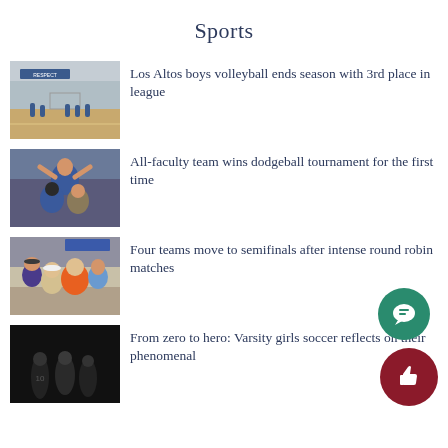Sports
[Figure (photo): Boys volleyball game in gym with players on court, blue and white gymnasium]
Los Altos boys volleyball ends season with 3rd place in league
[Figure (photo): People celebrating, one person being lifted in a gymnasium celebration]
All-faculty team wins dodgeball tournament for the first time
[Figure (photo): Students in colorful clothing celebrating at a round robin tournament]
Four teams move to semifinals after intense round robin matches
[Figure (photo): Dark photo of varsity girls soccer team]
From zero to hero: Varsity girls soccer reflects on their phenomenal